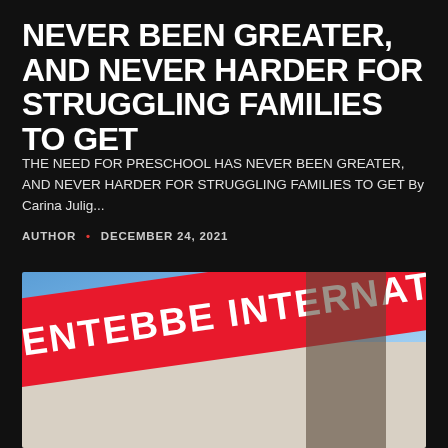NEVER BEEN GREATER, AND NEVER HARDER FOR STRUGGLING FAMILIES TO GET
THE NEED FOR PRESCHOOL HAS NEVER BEEN GREATER, AND NEVER HARDER FOR STRUGGLING FAMILIES TO GET By Carina Julig...
AUTHOR • DECEMBER 24, 2021
[Figure (photo): Photograph of Entebbe International Airport entrance showing a red sign with white text reading 'ENTEBBE INTERNATIONAL AIRPOR' (partially visible), with blue sky in the background and a light-colored building facade.]